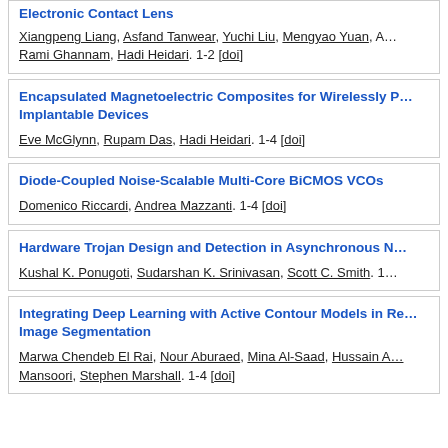Electronic Contact Lens — Xiangpeng Liang, Asfand Tanwear, Yuchi Liu, Mengyao Yuan, A…, Rami Ghannam, Hadi Heidari. 1-2 [doi]
Encapsulated Magnetoelectric Composites for Wirelessly P… Implantable Devices — Eve McGlynn, Rupam Das, Hadi Heidari. 1-4 [doi]
Diode-Coupled Noise-Scalable Multi-Core BiCMOS VCOs — Domenico Riccardi, Andrea Mazzanti. 1-4 [doi]
Hardware Trojan Design and Detection in Asynchronous N… — Kushal K. Ponugoti, Sudarshan K. Srinivasan, Scott C. Smith. 1…
Integrating Deep Learning with Active Contour Models in Re… Image Segmentation — Marwa Chendeb El Rai, Nour Aburaed, Mina Al-Saad, Hussain A… Mansoori, Stephen Marshall. 1-4 [doi]